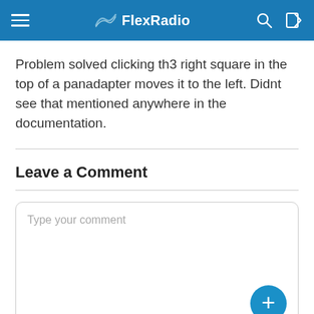FlexRadio
Problem solved clicking th3 right square in the top of a panadapter moves it to the left. Didnt see that mentioned anywhere in the documentation.
Leave a Comment
Type your comment